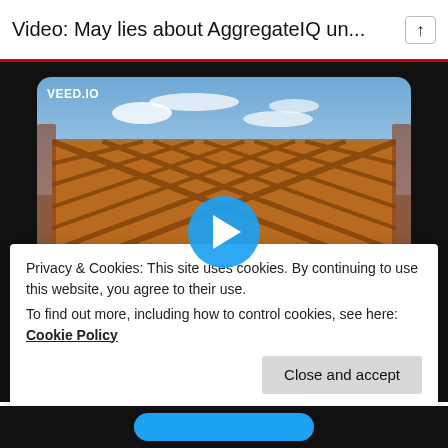Video: May lies about AggregateIQ un...
[Figure (screenshot): Video thumbnail showing three young people wearing yellow t-shirts that say 'Sheffield Needs A...' and holding white signs with red text reading 'FOOD WORKERS UNION'. They stand outdoors in front of a wooden lattice structure with brick walls. A VEED.IO watermark is visible in the top-left. A blue circular play button is centered on the image.]
Privacy & Cookies: This site uses cookies. By continuing to use this website, you agree to their use.
To find out more, including how to control cookies, see here: Cookie Policy